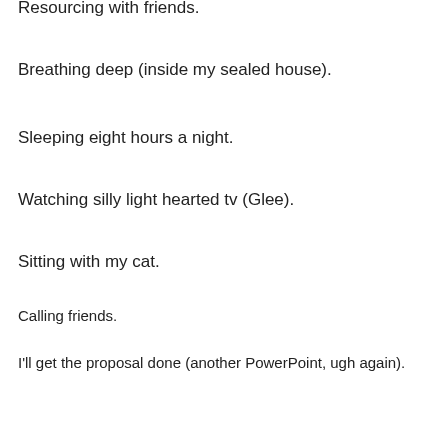Resourcing with friends.
Breathing deep (inside my sealed house).
Sleeping eight hours a night.
Watching silly light hearted tv (Glee).
Sitting with my cat.
Calling friends.
I'll get the proposal done (another PowerPoint, ugh again).
Privacy & Cookies: This site uses cookies. By continuing to use this website, you agree to their use.
To find out more, including how to control cookies, see here: Cookie Policy